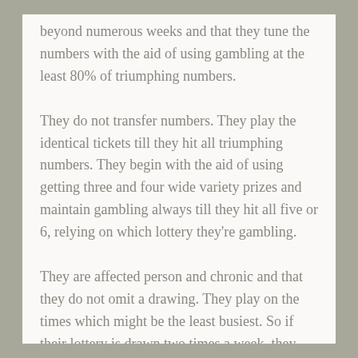beyond numerous weeks and that they tune the numbers with the aid of using gambling at the least 80% of triumphing numbers.
They do not transfer numbers. They play the identical tickets till they hit all triumphing numbers. They begin with the aid of using getting three and four wide variety prizes and maintain gambling always till they hit all five or 6, relying on which lottery they're gambling.
They are affected person and chronic and that they do not omit a drawing. They play on the times which might be the least busiest. So if their lottery is drawn two times a week, they play on a weekday. That's due to the fact the payouts are large on the ones days.